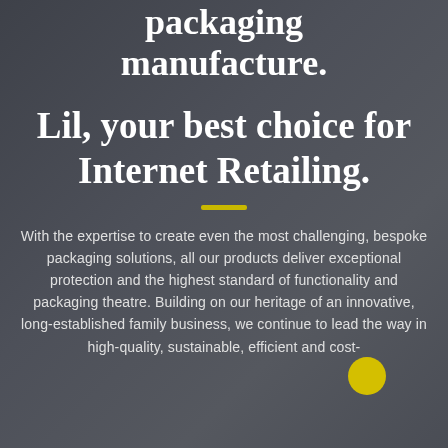packaging manufacture.
Lil, your best choice for Internet Retailing.
With the expertise to create even the most challenging, bespoke packaging solutions, all our products deliver exceptional protection and the highest standard of functionality and packaging theatre. Building on our heritage of an innovative, long-established family business, we continue to lead the way in high-quality, sustainable, efficient and cost-